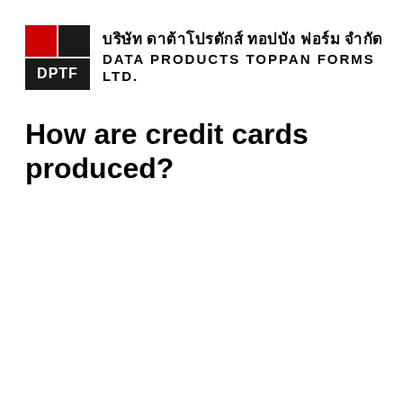[Figure (logo): DPTF logo with red and black squares and DPTF text in white on black background]
บริษัท ดาต้าโปรดักส์ ทอปบัง ฟอร์ม จำกัด DATA PRODUCTS TOPPAN FORMS LTD.
How are credit cards produced?